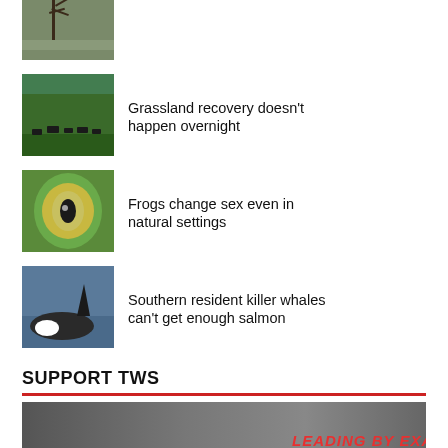[Figure (photo): Thumbnail image showing tree branches/antlers against a landscape, partially cropped at top]
Grassland recovery doesn't happen overnight
Frogs change sex even in natural settings
Southern resident killer whales can't get enough salmon
SUPPORT TWS
[Figure (photo): Banner image showing a silhouette of a person in foggy/misty outdoor setting with bold italic red text reading LEADING BY EXAMPLE]